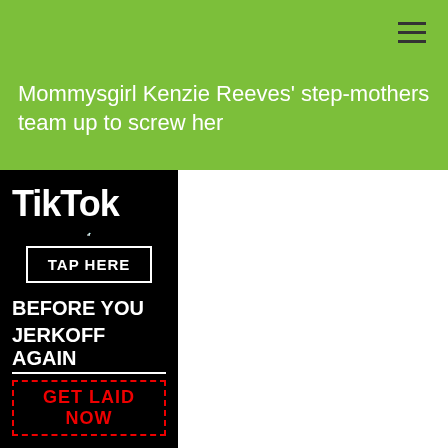Mommysgirl Kenzie Reeves' step-mothers team up to screw her
[Figure (screenshot): TikTok advertisement on black background with TikTok logo, 'TAP HERE' button, 'BEFORE YOU JERKOFF AGAIN' text, and 'GET LAID NOW' in red dashed border]